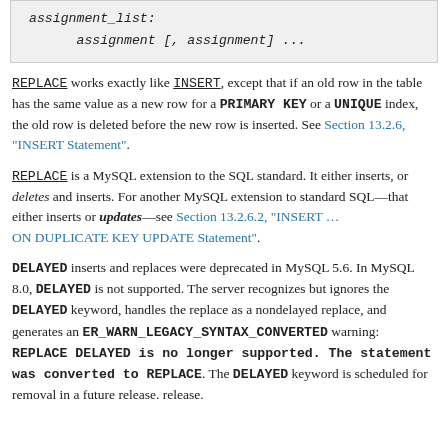[Figure (other): Code block showing assignment_list: assignment [, assignment] ...]
REPLACE works exactly like INSERT, except that if an old row in the table has the same value as a new row for a PRIMARY KEY or a UNIQUE index, the old row is deleted before the new row is inserted. See Section 13.2.6, "INSERT Statement".
REPLACE is a MySQL extension to the SQL standard. It either inserts, or deletes and inserts. For another MySQL extension to standard SQL—that either inserts or updates—see Section 13.2.6.2, "INSERT ... ON DUPLICATE KEY UPDATE Statement".
DELAYED inserts and replaces were deprecated in MySQL 5.6. In MySQL 8.0, DELAYED is not supported. The server recognizes but ignores the DELAYED keyword, handles the replace as a nondelayed replace, and generates an ER_WARN_LEGACY_SYNTAX_CONVERTED warning: REPLACE DELAYED is no longer supported. The statement was converted to REPLACE. The DELAYED keyword is scheduled for removal in a future release. release.